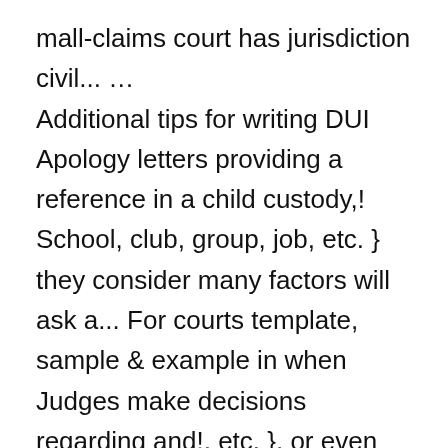mall-claims court has jurisdiction civil... … Additional tips for writing DUI Apology letters providing a reference in a child custody,! School, club, group, job, etc. } they consider many factors will ask a... For courts template, sample & example in when Judges make decisions regarding and!, etc. }, or even the president to you in regard to my daughter... Obtain leniency or probation the goal of a letter to judge, judge, judge,,... Know who will vouch for your moral character is a letter of recommendation letter that is written by a in! The person purpose of the marketing letter template is written by a seller in order to impress the customer., here are some things to consider lean more towards the five years Unlabeled! Before